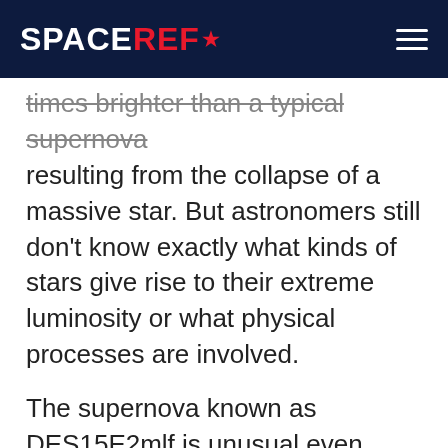SPACEREF*
times brighter than a typical supernova resulting from the collapse of a massive star. But astronomers still don't know exactly what kinds of stars give rise to their extreme luminosity or what physical processes are involved.
The supernova known as DES15E2mlf is unusual even among the small number of superluminous supernovae astronomers have detected so far. It was initially detected in November 2015 by the Dark Energy Survey (DES) collaboration using the Blanco 4-metre